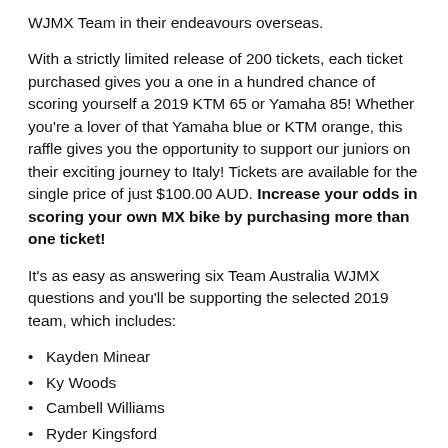WJMX Team in their endeavours overseas.
With a strictly limited release of 200 tickets, each ticket purchased gives you a one in a hundred chance of scoring yourself a 2019 KTM 65 or Yamaha 85! Whether you're a lover of that Yamaha blue or KTM orange, this raffle gives you the opportunity to support our juniors on their exciting journey to Italy! Tickets are available for the single price of just $100.00 AUD. Increase your odds in scoring your own MX bike by purchasing more than one ticket!
It's as easy as answering six Team Australia WJMX questions and you'll be supporting the selected 2019 team, which includes:
Kayden Minear
Ky Woods
Cambell Williams
Ryder Kingsford
Alex Larwood
Blake Fox
The KTM 65 and Yamaha 85 are valued at over $5,000.00